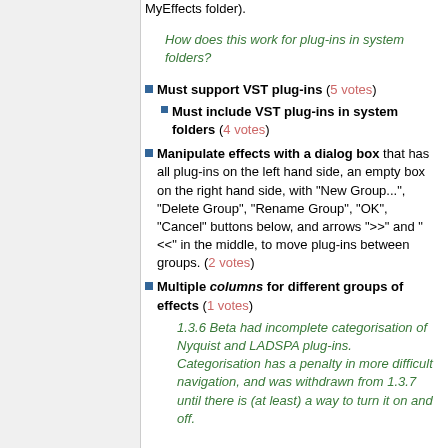MyEffects folder).
How does this work for plug-ins in system folders?
Must support VST plug-ins (5 votes)
Must include VST plug-ins in system folders (4 votes)
Manipulate effects with a dialog box that has all plug-ins on the left hand side, an empty box on the right hand side, with "New Group...", "Delete Group", "Rename Group", "OK", "Cancel" buttons below, and arrows ">>" and "<<" in the middle, to move plug-ins between groups. (2 votes)
Multiple columns for different groups of effects (1 votes)
1.3.6 Beta had incomplete categorisation of Nyquist and LADSPA plug-ins. Categorisation has a penalty in more difficult navigation, and was withdrawn from 1.3.7 until there is (at least) a way to turn it on and off.